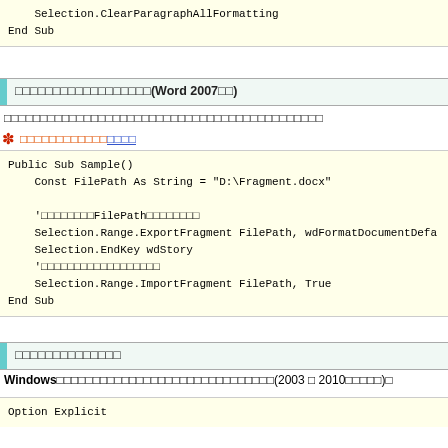Selection.ClearParagraphAllFormatting
End Sub
□□□□□□□□□□□□□□□□□□(Word 2007□□)
□□□□□□□□□□□□□□□□□□□□□□□□□□□□□□□□□□□□□□□□□□□□
✽ □□□□□□□□□□□□□□□□
Public Sub Sample()
    Const FilePath As String = "D:\Fragment.docx"

    'ffffffff FilePath ffffffff
    Selection.Range.ExportFragment FilePath, wdFormatDocumentDefa
    Selection.EndKey wdStory
    'ffffffffffffffff
    Selection.Range.ImportFragment FilePath, True
End Sub
□□□□□□□□□□□□□□
Windows□□□□□□□□□□□□□□□□□□□□□□□□□□□□□□(2003 □ 2010□□□□□)□
Option Explicit